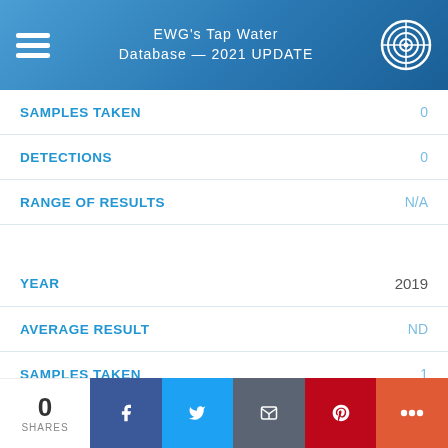EWG's Tap Water Database — 2021 UPDATE
| Field | Value |
| --- | --- |
| SAMPLES TAKEN | 0 |
| DETECTIONS | 0 |
| RANGE OF RESULTS | N/A |
| YEAR | 2019 |
| AVERAGE RESULT | ND |
| SAMPLES TAKEN | 1 |
| DETECTIONS | 0 |
0 SHARES | Facebook | Twitter | Email | Pinterest | More